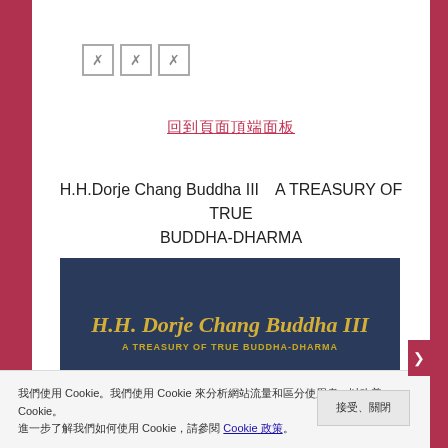[Figure (other): Three broken image placeholder icons (X marks in squares)]
（Chinese characters — navigation/link text）
H.H.Dorje Chang Buddha III　A TREASURY OF TRUE BUDDHA-DHARMA
[Figure (photo): Photo of book cover: dark blue hardcover book with gold embossed text reading 'H.H. Dorje Chang Buddha III' and subtitle 'A TREASURY OF TRUE BUDDHA-DHARMA']
（Cookie consent banner with Chinese text about Cookie policy and a Cookie settings link）